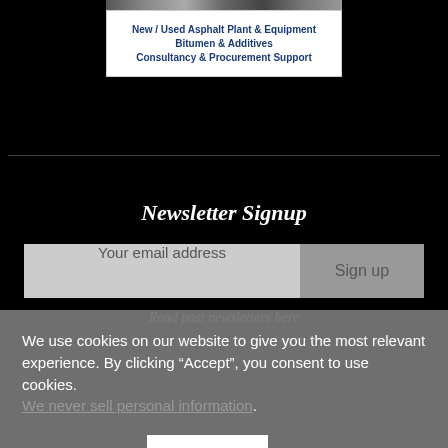[Figure (screenshot): Ad banner for asphalt plant equipment company with image strip at top]
New / Used Asphalt Plant & Equipment
Bitumen & Additives
Consultancy & Procurement Support
Newsletter Signup
Your email address
Sign up
Read past newsletters here
We use cookies on our website to give you the most relevant experience. By clicking “Accept”, you consent to use cookies. We never sell personal information.
Cookie Settings
Accept